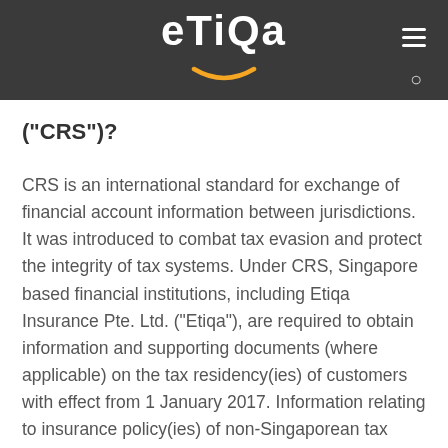[Figure (logo): Etiqa logo with white text and yellow smile on dark grey background, with hamburger menu icon and search icon]
("CRS")?
CRS is an international standard for exchange of financial account information between jurisdictions. It was introduced to combat tax evasion and protect the integrity of tax systems. Under CRS, Singapore based financial institutions, including Etiqa Insurance Pte. Ltd. ("Etiqa"), are required to obtain information and supporting documents (where applicable) on the tax residency(ies) of customers with effect from 1 January 2017. Information relating to insurance policy(ies) of non-Singaporean tax